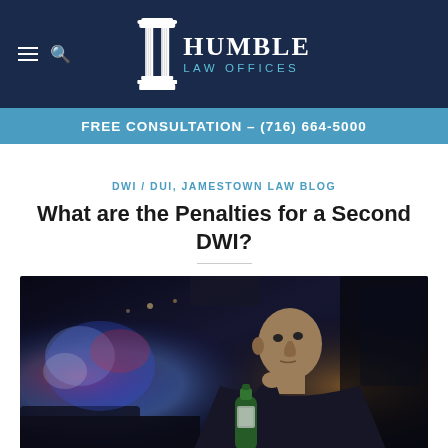Humble Law Offices — FREE CONSULTATION – (716) 664-5000
DWI / DUI, JAMESTOWN LAW BLOG
What are the Penalties for a Second DWI?
[Figure (photo): Man sitting in car looking in rearview mirror while holding a green bottle, with blue police lights visible through the rear window at night]